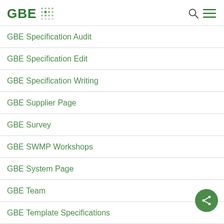GBE
GBE Specification Audit
GBE Specification Edit
GBE Specification Writing
GBE Supplier Page
GBE Survey
GBE SWMP Workshops
GBE System Page
GBE Team
GBE Template Specifications